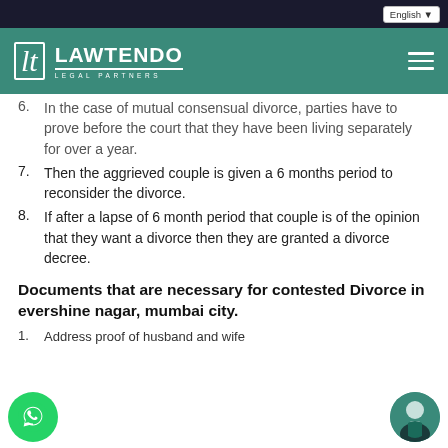LAWTENDO LEGAL PARTNERS
6. In the case of mutual consensual divorce, parties have to prove before the court that they have been living separately for over a year.
7. Then the aggrieved couple is given a 6 months period to reconsider the divorce.
8. If after a lapse of 6 month period that couple is of the opinion that they want a divorce then they are granted a divorce decree.
Documents that are necessary for contested Divorce in evershine nagar, mumbai city.
1. Address proof of husband and wife